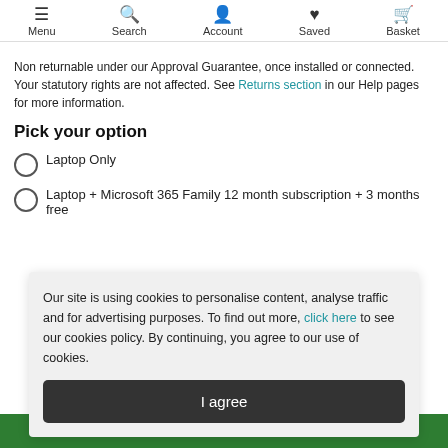Menu  Search  Account  Saved  Basket
Non returnable under our Approval Guarantee, once installed or connected. Your statutory rights are not affected. See Returns section in our Help pages for more information.
Pick your option
Laptop Only
Laptop + Microsoft 365 Family 12 month subscription + 3 months free
Our site is using cookies to personalise content, analyse traffic and for advertising purposes. To find out more, click here to see our cookies policy. By continuing, you agree to our use of cookies.
I agree
Add to basket